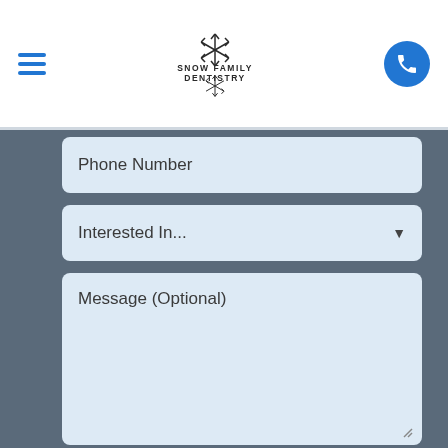Snow Family Dentistry
Phone Number
Interested In...
Message (Optional)
I accept the terms and conditions.
SUBMIT